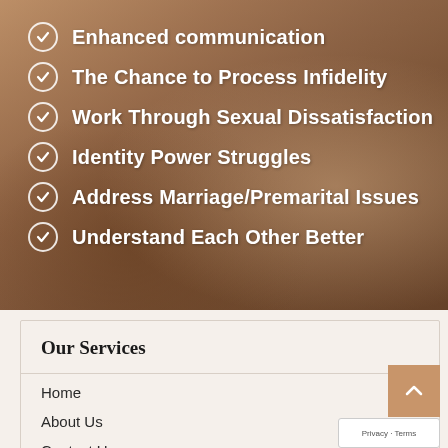Enhanced communication
The Chance to Process Infidelity
Work Through Sexual Dissatisfaction
Identity Power Struggles
Address Marriage/Premarital Issues
Understand Each Other Better
Our Services
Home
About Us
Contact Us
Our Services
Online Counseling